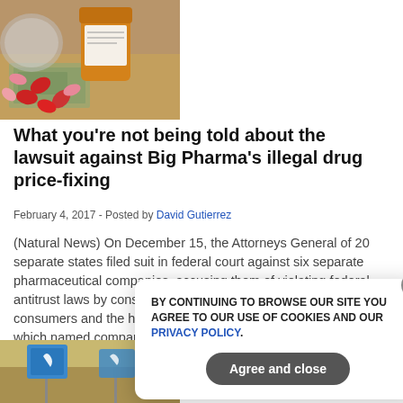[Figure (photo): Prescription pill bottles with red and pink capsules spilled out on top of dollar bills]
What you’re not being told about the lawsuit against Big Pharma’s illegal drug price-fixing
February 4, 2017 - Posted by David Gutierrez
(Natural News) On December 15, the Attorneys General of 20 separate states filed suit in federal court against six separate pharmaceutical companies, accusing them of violating federal antitrust laws by conspiring to fix prices to the detriment of consumers and the health care system as a whole. The suit, which named companies including Heritage and [...]
in: antitrust, Big Pharma, drug price fixing
[Figure (photo): Blue signs in a field, partially visible at bottom of page]
BY CONTINUING TO BROWSE OUR SITE YOU AGREE TO OUR USE OF COOKIES AND OUR PRIVACY POLICY. Agree and close